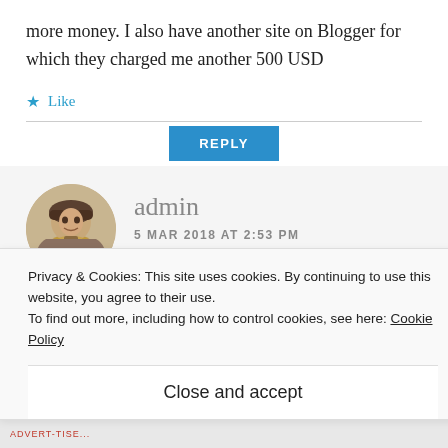more money. I also have another site on Blogger for which they charged me another 500 USD
★ Like
REPLY
admin
5 MAR 2018 AT 2:53 PM
Privacy & Cookies: This site uses cookies. By continuing to use this website, you agree to their use.
To find out more, including how to control cookies, see here: Cookie Policy
Close and accept